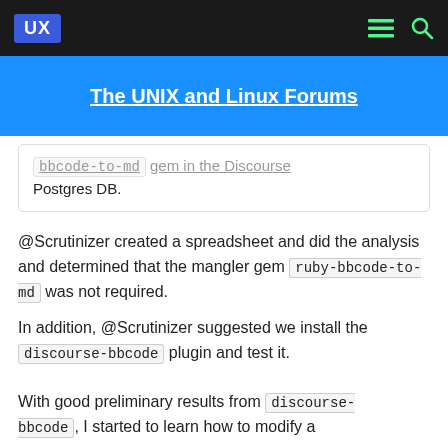UX — The UNIX and Linux Forums
The UNIX and Linux Forums
bbcode-to-md gem in the Discourse Postgres DB.
@Scrutinizer created a spreadsheet and did the analysis and determined that the mangler gem ruby-bbcode-to-md was not required.
In addition, @Scrutinizer suggested we install the discourse-bbcode plugin and test it.
With good preliminary results from discourse-bbcode, I started to learn how to modify a